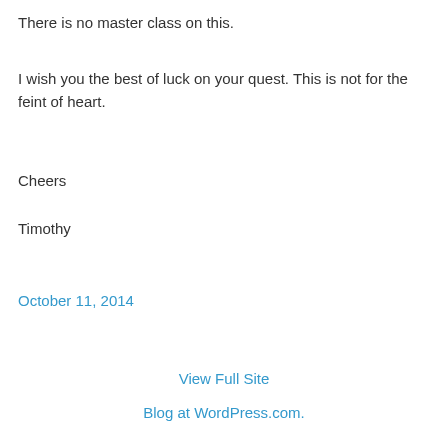There is no master class on this.
I wish you the best of luck on your quest. This is not for the feint of heart.
Cheers
Timothy
October 11, 2014
View Full Site
Blog at WordPress.com.